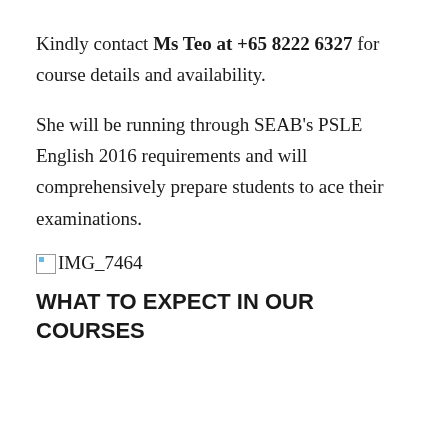Kindly contact Ms Teo at +65 8222 6327 for course details and availability.
She will be running through SEAB's PSLE English 2016 requirements and will comprehensively prepare students to ace their examinations.
[Figure (photo): Broken image placeholder labeled IMG_7464]
WHAT TO EXPECT IN OUR COURSES